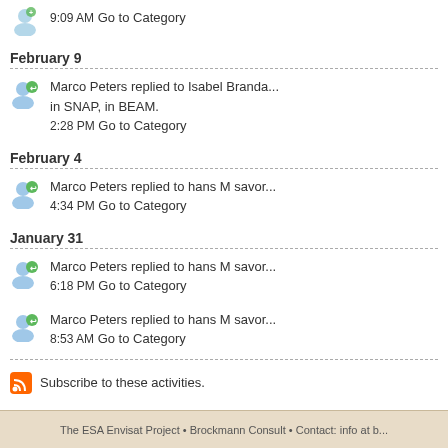9:09 AM Go to Category
February 9
Marco Peters replied to Isabel Branda... in SNAP, in BEAM.
2:28 PM Go to Category
February 4
Marco Peters replied to hans M savor...
4:34 PM Go to Category
January 31
Marco Peters replied to hans M savor...
6:18 PM Go to Category
Marco Peters replied to hans M savor...
8:53 AM Go to Category
Subscribe to these activities.
Wall
You have to be João's friend to ac...
The ESA Envisat Project • Brockmann Consult • Contact: info at b...